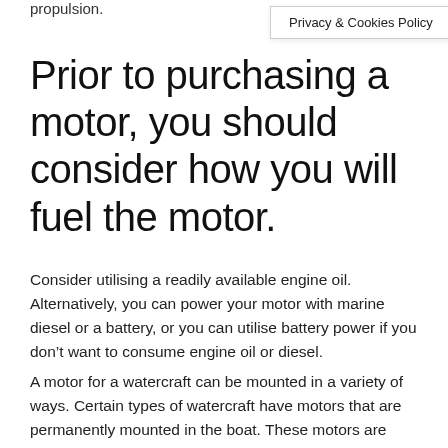propulsion.
Privacy & Cookies Policy
Prior to purchasing a motor, you should consider how you will fuel the motor.
Consider utilising a readily available engine oil. Alternatively, you can power your motor with marine diesel or a battery, or you can utilise battery power if you don’t want to consume engine oil or diesel.
A motor for a watercraft can be mounted in a variety of ways. Certain types of watercraft have motors that are permanently mounted in the boat. These motors are extremely powerful and long-lasting.